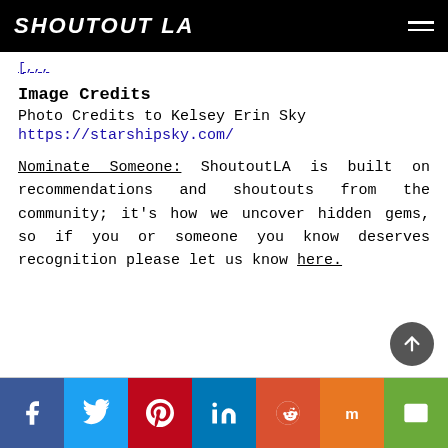SHOUTOUT LA
[,,,
Image Credits
Photo Credits to Kelsey Erin Sky
https://starshipsky.com/
Nominate Someone: ShoutoutLA is built on recommendations and shoutouts from the community; it’s how we uncover hidden gems, so if you or someone you know deserves recognition please let us know here.
Social share bar: Facebook, Twitter, Pinterest, LinkedIn, Reddit, Mix, Email